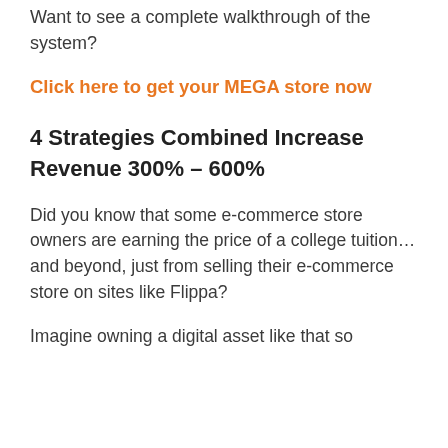Want to see a complete walkthrough of the system?
Click here to get your MEGA store now
4 Strategies Combined Increase Revenue 300% – 600%
Did you know that some e-commerce store owners are earning the price of a college tuition… and beyond, just from selling their e-commerce store on sites like Flippa?
Imagine owning a digital asset like that so